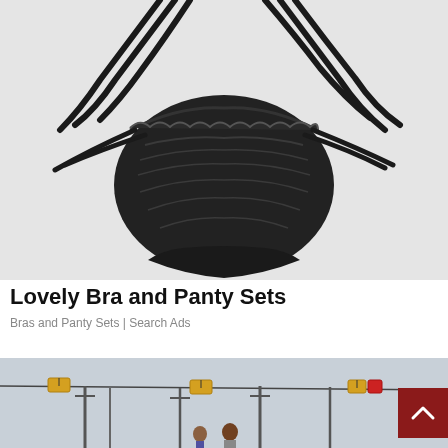[Figure (photo): Product photo of a black lace thong/lingerie piece with long ribbon ties, laid flat on a light gray background]
Lovely Bra and Panty Sets
Bras and Panty Sets | Search Ads
[Figure (photo): Outdoor street scene with cable car gondolas hanging on wires above, utility poles, overcast sky, two people visible at bottom]